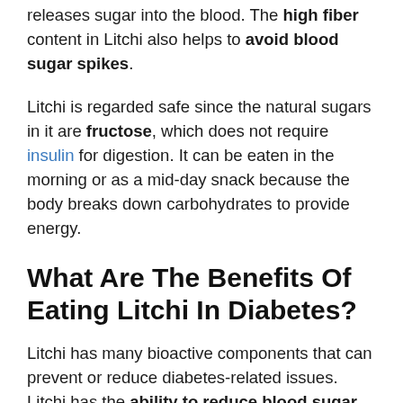releases sugar into the blood. The high fiber content in Litchi also helps to avoid blood sugar spikes.
Litchi is regarded safe since the natural sugars in it are fructose, which does not require insulin for digestion. It can be eaten in the morning or as a mid-day snack because the body breaks down carbohydrates to provide energy.
What Are The Benefits Of Eating Litchi In Diabetes?
Litchi has many bioactive components that can prevent or reduce diabetes-related issues. Litchi has the ability to reduce blood sugar spikes.